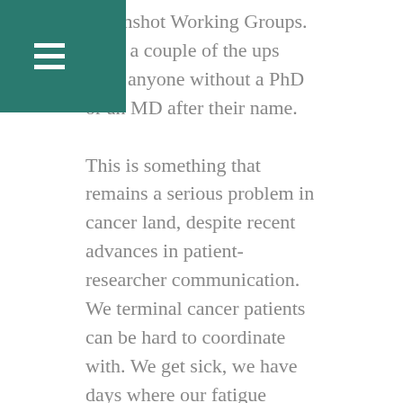Moonshot Working Groups. Only a couple of the ups have anyone without a PhD or an MD after their name.
This is something that remains a serious problem in cancer land, despite recent advances in patient-researcher communication. We terminal cancer patients can be hard to coordinate with. We get sick, we have days where our fatigue overcomes us, and we can't always travel to DC for high-level meetings with government and researchers because treatment gets in the way. And maybe that's why advanced/metastatic patients aren't usually involved in deciding what research questions get the bulk of the funding, and maybe that's why funding for metastasis research is alarmingly low.